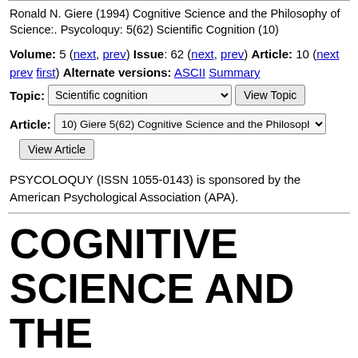Ronald N. Giere (1994) Cognitive Science and the Philosophy of Science:. Psycoloquy: 5(62) Scientific Cognition (10)
Volume: 5 (next, prev) Issue: 62 (next, prev) Article: 10 (next prev first) Alternate versions: ASCII Summary
Topic: Scientific cognition [dropdown] View Topic
Article: 10) Giere 5(62) Cognitive Science and the Philosophy [dropdown]
View Article
PSYCOLOQUY (ISSN 1055-0143) is sponsored by the American Psychological Association (APA).
COGNITIVE SCIENCE AND THE PHILOSOPHY OF SCIENCE: WHAT'S THE CONNECTION?